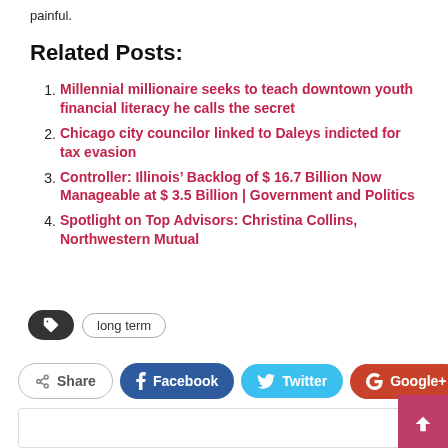painful.
Related Posts:
Millennial millionaire seeks to teach downtown youth financial literacy he calls the secret
Chicago city councilor linked to Daleys indicted for tax evasion
Controller: Illinois’ Backlog of $ 16.7 Billion Now Manageable at $ 3.5 Billion | Government and Politics
Spotlight on Top Advisors: Christina Collins, Northwestern Mutual
long term
Share  Facebook  Twitter  Google+  +